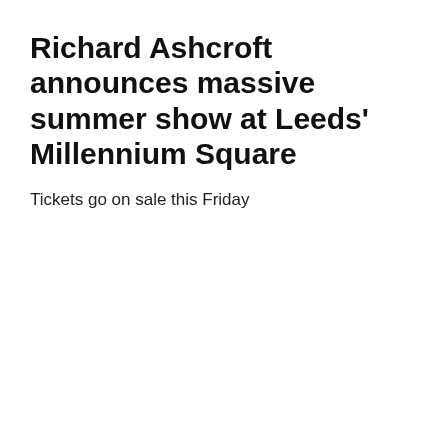Richard Ashcroft announces massive summer show at Leeds' Millennium Square
Tickets go on sale this Friday